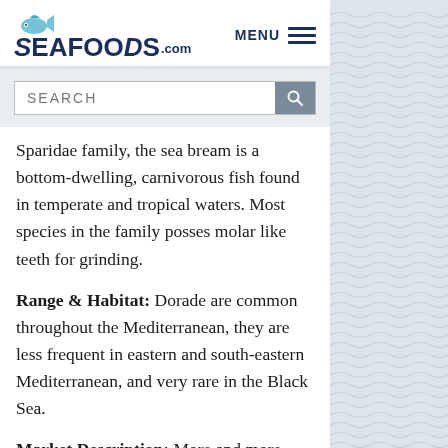SeafoodS.com  MENU
SEARCH
Sparidae family, the sea bream is a bottom-dwelling, carnivorous fish found in temperate and tropical waters. Most species in the family posses molar like teeth for grinding.
Range & Habitat: Dorade are common throughout the Mediterranean, they are less frequent in eastern and south-eastern Mediterranean, and very rare in the Black Sea.
Market Description: More and more quantities on the market is a farm raised fish coming either from France or Greece, Spain…